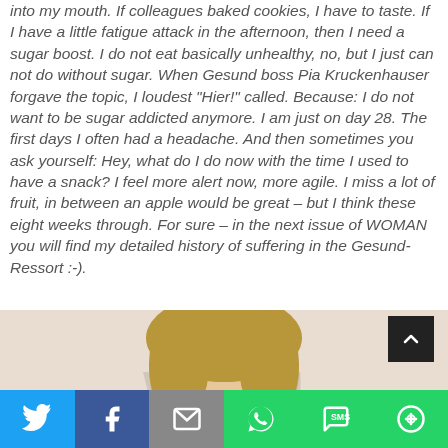into my mouth. If colleagues baked cookies, I have to taste. If I have a little fatigue attack in the afternoon, then I need a sugar boost. I do not eat basically unhealthy, no, but I just can not do without sugar. When Gesund boss Pia Kruckenhauser forgave the topic, I loudest "Hier!" called. Because: I do not want to be sugar addicted anymore. I am just on day 28. The first days I often had a headache. And then sometimes you ask yourself: Hey, what do I do now with the time I used to have a snack? I feel more alert now, more agile. I miss a lot of fruit, in between an apple would be great – but I think these eight weeks through. For sure – in the next issue of WOMAN you will find my detailed history of suffering in the Gesund-Ressort :-).
[Figure (photo): Partial photo of a woman with blonde hair, cropped at the top of the frame with watermark text behind her]
Social share bar with Twitter, Facebook, Email, WhatsApp, SMS, More buttons